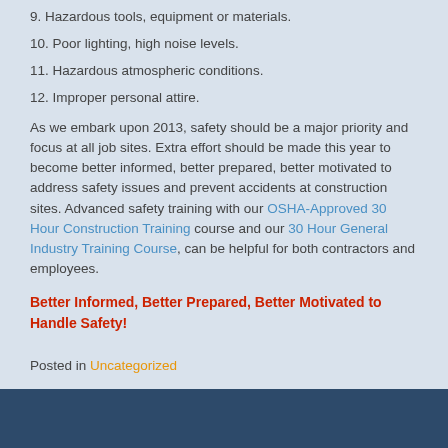9. Hazardous tools, equipment or materials.
10. Poor lighting, high noise levels.
11. Hazardous atmospheric conditions.
12. Improper personal attire.
As we embark upon 2013, safety should be a major priority and focus at all job sites. Extra effort should be made this year to become better informed, better prepared, better motivated to address safety issues and prevent accidents at construction sites. Advanced safety training with our OSHA-Approved 30 Hour Construction Training course and our 30 Hour General Industry Training Course, can be helpful for both contractors and employees.
Better Informed, Better Prepared, Better Motivated to Handle Safety!
Posted in Uncategorized
Copyright ©2012-2015 Osha-Pros USA, LLC. All Rights Reserved.
00154170